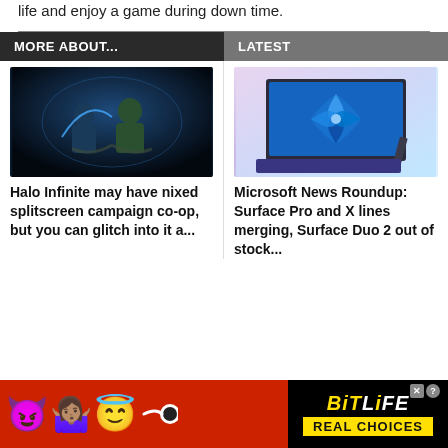life and enjoy a game during down time.
MORE ABOUT...
LATEST
[Figure (photo): Halo Infinite game art showing armored characters in a dark sci-fi setting]
Halo Infinite may have nixed splitscreen campaign co-op, but you can glitch into it a...
[Figure (photo): Microsoft Surface Pro laptop with Windows 11 bloom wallpaper on purple/blue background]
Microsoft News Roundup: Surface Pro and X lines merging, Surface Duo 2 out of stock...
[Figure (illustration): BitLife advertisement banner with emoji characters (devil, person shrugging, angel) and BitLife logo with REAL CHOICES text]